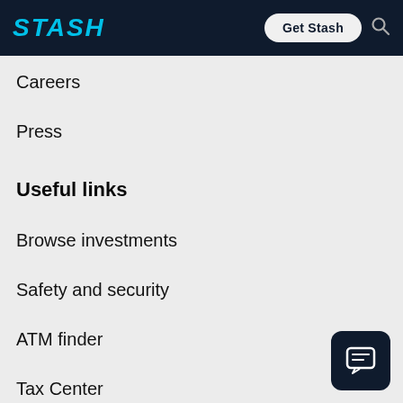STASH | Get Stash
Careers
Press
Useful links
Browse investments
Safety and security
ATM finder
Tax Center
[Figure (illustration): Dark rounded square chat/message icon button in bottom-right corner]